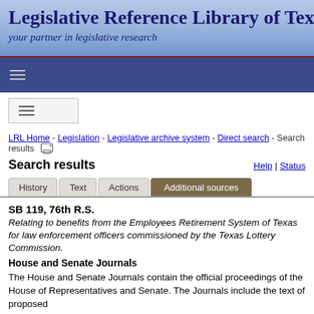Legislative Reference Library of Texas
your partner in legislative research
[Figure (screenshot): Navigation bar with hamburger menu icon on dark blue background with dark red top border]
[Figure (screenshot): Mobile toggle button box with hamburger icon]
LRL Home - Legislation - Legislative archive system - Direct search - Search results
Search results
Help | Status
History  Text  Actions  Additional sources
SB 119, 76th R.S.
Relating to benefits from the Employees Retirement System of Texas for law enforcement officers commissioned by the Texas Lottery Commission.
House and Senate Journals
The House and Senate Journals contain the official proceedings of the House of Representatives and Senate. The Journals include the text of proposed